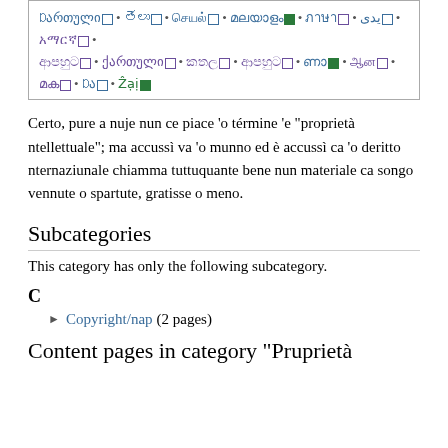[multilingual links box with language script links and superscript icons]
Certo, pure a nuje nun ce piace 'o términe 'e "proprietà ntellettuale"; ma accussì va 'o munno ed è accussì ca 'o deritto nternaziunale chiamma tuttuquante bene nun materiale ca songo vennute o spartute, gratisse o meno.
Subcategories
This category has only the following subcategory.
C
► Copyright/nap (2 pages)
Content pages in category "Pruprietà